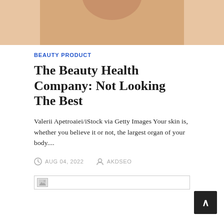[Figure (photo): Cropped photo of a person's torso/midsection against a warm beige/tan background]
BEAUTY PRODUCT
The Beauty Health Company: Not Looking The Best
Valerii Apetroaiei/iStock via Getty Images Your skin is, whether you believe it or not, the largest organ of your body....
AUG 04, 2022   AKDSEO
[Figure (photo): Broken/unloaded image placeholder with small icon]